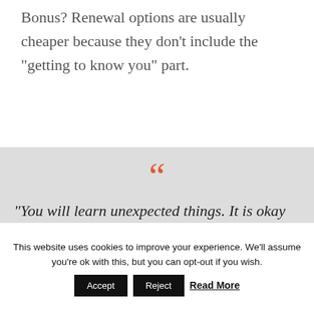Bonus? Renewal options are usually cheaper because they don't include the "getting to know you" part.
“You will learn unexpected things. It is okay to rest. There will be plenty of times in your life to run on the road.
This website uses cookies to improve your experience. We’ll assume you’re ok with this, but you can opt-out if you wish. Accept Reject Read More